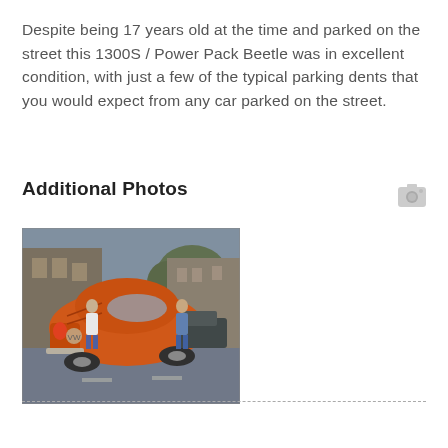Despite being 17 years old at the time and parked on the street this 1300S / Power Pack Beetle was in excellent condition, with just a few of the typical parking dents that you would expect from any car parked on the street.
Additional Photos
[Figure (photo): Rear view of an orange VW Beetle parked on a street, with two people visible nearby and terraced houses in the background. Vintage photograph with muted colors.]